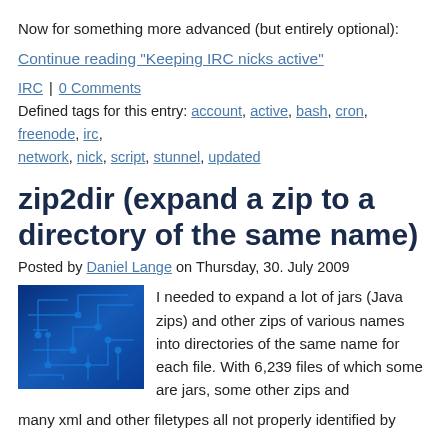Now for something more advanced (but entirely optional):
Continue reading "Keeping IRC nicks active"
IRC | 0 Comments
Defined tags for this entry: account, active, bash, cron, freenode, irc, network, nick, script, stunnel, updated
zip2dir (expand a zip to a directory of the same name)
Posted by Daniel Lange on Thursday, 30. July 2009
[Figure (photo): Circuit board photo with blue tones showing electronic traces and components]
I needed to expand a lot of jars (Java zips) and other zips of various names into directories of the same name for each file. With 6,239 files of which some are jars, some other zips and many xml and other filetypes all not properly identified by